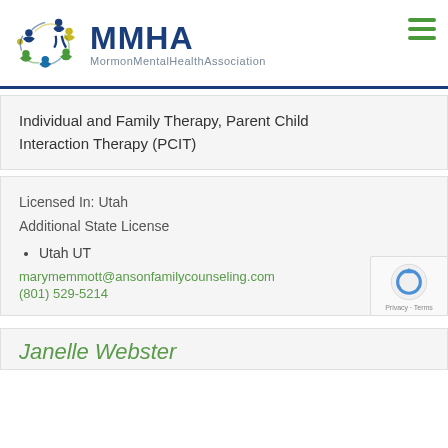[Figure (logo): MMHA Mormon Mental Health Association logo with colorful figures and blue MMHA text]
Individual and Family Therapy, Parent Child Interaction Therapy (PCIT)
Licensed In: Utah
Additional State License
Utah UT
marymemmott@ansonfamilycounseling.com
(801) 529-5214
Janelle Webster